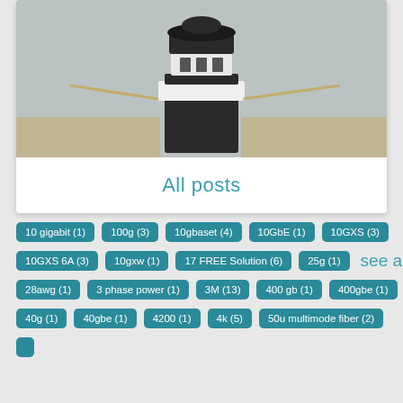[Figure (photo): Blurred photo of a lighthouse model or toy on a light background with wooden elements]
All posts
10 gigabit (1)
100g (3)
10gbaset (4)
10GbE (1)
10GXS (3)
10GXS 6A (3)
10gxw (1)
17 FREE Solution (6)
25g (1)
see all
28awg (1)
3 phase power (1)
3M (13)
400 gb (1)
400gbe (1)
40g (1)
40gbe (1)
4200 (1)
4k (5)
50u multimode fiber (2)